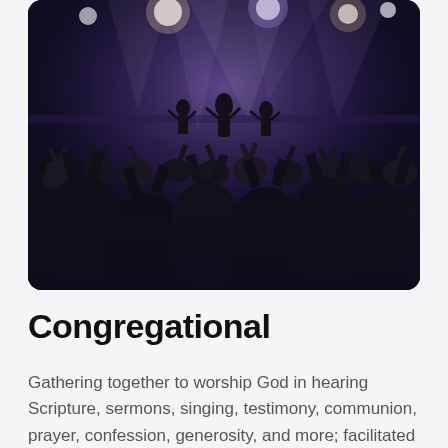[Figure (photo): A darkened concert worship scene with a crowd of people raising their hands toward a brightly lit stage with performers singing and playing instruments, with dramatic stage lighting in purple and white tones.]
Congregational
Gathering together to worship God in hearing Scripture, sermons, singing, testimony, communion, prayer, confession, generosity, and more; facilitated through services and conferences.